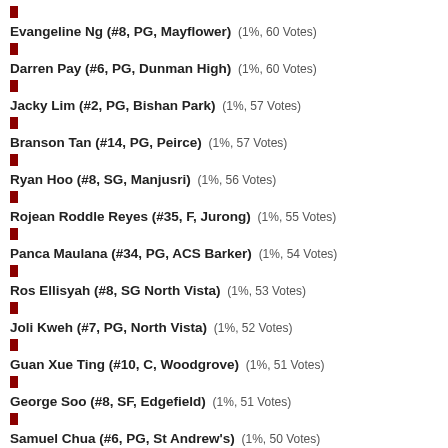Evangeline Ng (#8, PG, Mayflower) (1%, 60 Votes)
Darren Pay (#6, PG, Dunman High) (1%, 60 Votes)
Jacky Lim (#2, PG, Bishan Park) (1%, 57 Votes)
Branson Tan (#14, PG, Peirce) (1%, 57 Votes)
Ryan Hoo (#8, SG, Manjusri) (1%, 56 Votes)
Rojean Roddle Reyes (#35, F, Jurong) (1%, 55 Votes)
Panca Maulana (#34, PG, ACS Barker) (1%, 54 Votes)
Ros Ellisyah (#8, SG North Vista) (1%, 53 Votes)
Joli Kweh (#7, PG, North Vista) (1%, 52 Votes)
Guan Xue Ting (#10, C, Woodgrove) (1%, 51 Votes)
George Soo (#8, SF, Edgefield) (1%, 51 Votes)
Samuel Chua (#6, PG, St Andrew's) (1%, 50 Votes)
Carlo (#8, SF, Montfort) (1%, 49 Votes)